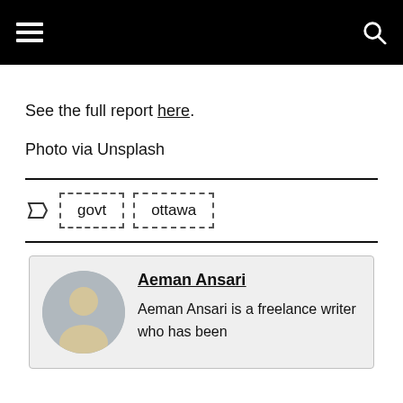[Navigation header with hamburger menu and search icon]
See the full report here.
Photo via Unsplash
govt
ottawa
Aeman Ansari
Aeman Ansari is a freelance writer who has been